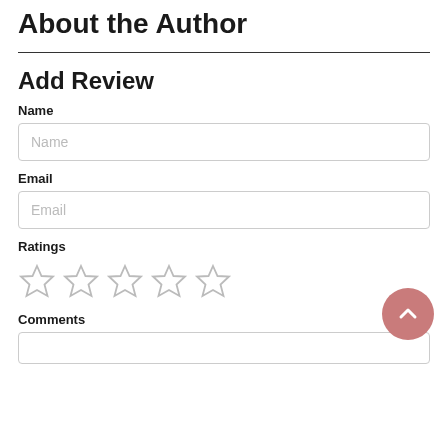About the Author
Add Review
Name
Email
Ratings
[Figure (other): Five empty star rating icons in a row]
Comments
[Figure (other): Back-to-top circular button with upward chevron arrow, pink/rose color]